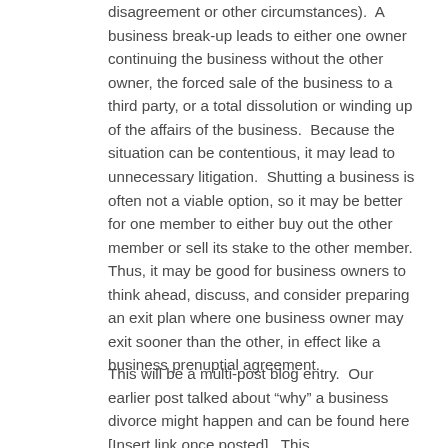disagreement or other circumstances).  A business break-up leads to either one owner continuing the business without the other owner, the forced sale of the business to a third party, or a total dissolution or winding up of the affairs of the business.  Because the situation can be contentious, it may lead to unnecessary litigation.  Shutting a business is often not a viable option, so it may be better for one member to either buy out the other member or sell its stake to the other member.  Thus, it may be good for business owners to think ahead, discuss, and consider preparing an exit plan where one business owner may exit sooner than the other, in effect like a business prenuptial agreement.
This will be a multi-post blog entry.  Our earlier post talked about “why” a business divorce might happen and can be found here [Insert link once posted].  This